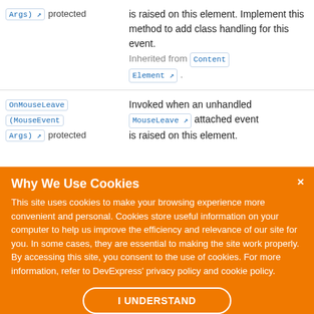Args) ↗  protected | is raised on this element. Implement this method to add class handling for this event. Inherited from Content Element ↗ .
OnMouseLeave (MouseEvent Args) ↗  protected | Invoked when an unhandled MouseLeave ↗ attached event is raised on this element. Implement this method to add...
Why We Use Cookies
This site uses cookies to make your browsing experience more convenient and personal. Cookies store useful information on your computer to help us improve the efficiency and relevance of our site for you. In some cases, they are essential to making the site work properly. By accessing this site, you consent to the use of cookies. For more information, refer to DevExpress' privacy policy and cookie policy.